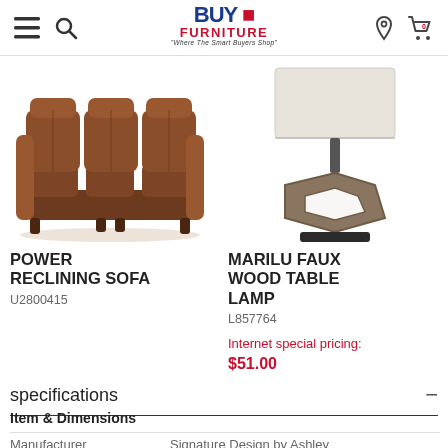Buy Furniture — Where The Smart Buyers Shop
[Figure (photo): Brown leather power reclining sofa with multiple reclining seats and cup holders]
POWER RECLINING SOFA
U2800415
[Figure (photo): Marilu faux wood table lamp with hexagonal base and white shade]
MARILU FAUX WOOD TABLE LAMP
L857764
Internet special pricing:
$51.00
specifications
Item & Dimensions
Manufacturer	Signature Design by Ashley